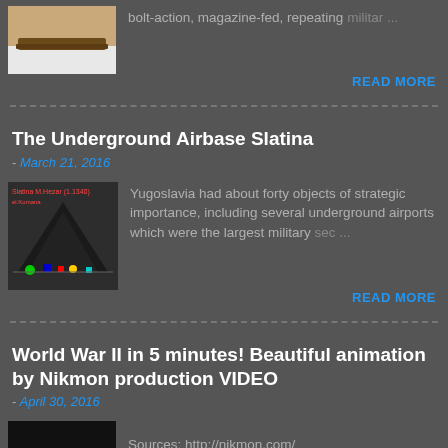[Figure (photo): Thumbnail image of a rifle or military weapon]
bolt-action, magazine-fed, repeating military ...
READ MORE
The Underground Airbase Slatina
- March 21, 2016
[Figure (screenshot): Colorful diagram/map screenshot showing underground airbase layout]
Yugoslavia had about forty objects of strategic importance, including several underground airports which were the largest military sec ...
READ MORE
World War II in 5 minutes! Beautiful animation by Nikmon production VIDEO
- April 30, 2016
[Figure (screenshot): Black thumbnail image at bottom of page]
Sources: http://nikmon.com/